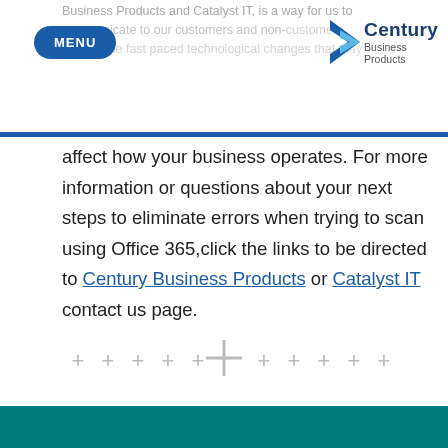Business Products and Catalyst IT, is a way for us to communicate to our customers and non-customers alike of the fast paced technological changes that may affect how your business operates.
affect how your business operates. For more information or questions about your next steps to eliminate errors when trying to scan using Office 365,click the links to be directed to Century Business Products or Catalyst IT contact us page.
[Figure (other): A decorative row of plus signs (+) with a larger centered plus sign in the middle, used as a visual divider element.]